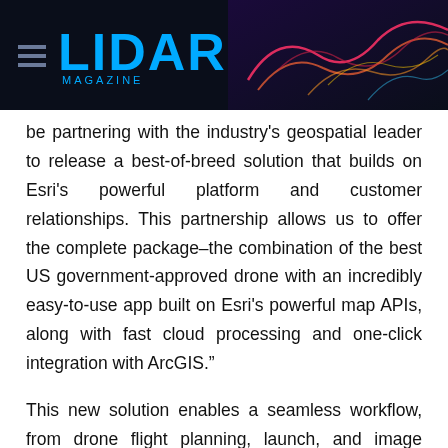LIDAR MAGAZINE
be partnering with the industry's geospatial leader to release a best-of-breed solution that builds on Esri's powerful platform and customer relationships. This partnership allows us to offer the complete package–the combination of the best US government-approved drone with an incredibly easy-to-use app built on Esri's powerful map APIs, along with fast cloud processing and one-click integration with ArcGIS.”
This new solution enables a seamless workflow, from drone flight planning, launch, and image capture all the way to data analysis and dissemination. Scrutinizing the accuracy, precision,